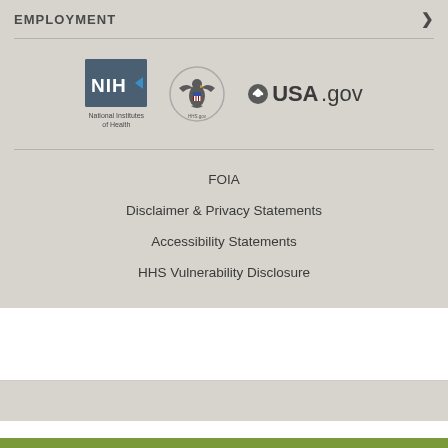EMPLOYMENT
[Figure (logo): NIH National Institutes of Health logo, HHS eagle logo, USA.gov logo]
FOIA
Disclaimer & Privacy Statements
Accessibility Statements
HHS Vulnerability Disclosure